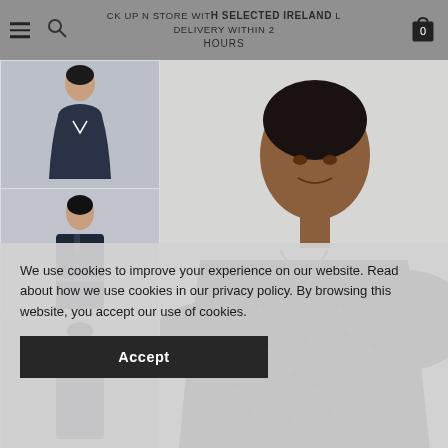PICK UP IN STORE WITH SAME DAY DELIVERY WITHIN 2 HOURS | SELECTED IRELAND
[Figure (photo): Thumbnail of woman in dark navy dress with V-neck, loose fit, long sleeves]
[Figure (photo): Thumbnail of woman in dark navy belted coat/dress]
[Figure (photo): Thumbnail of woman in dark navy jacket, close-up view]
[Figure (photo): Main product photo: close-up of woman wearing dark navy dotted/textured long-sleeve dress against light grey background]
We use cookies to improve your experience on our website. Read about how we use cookies in our privacy policy. By browsing this website, you accept our use of cookies.
Accept